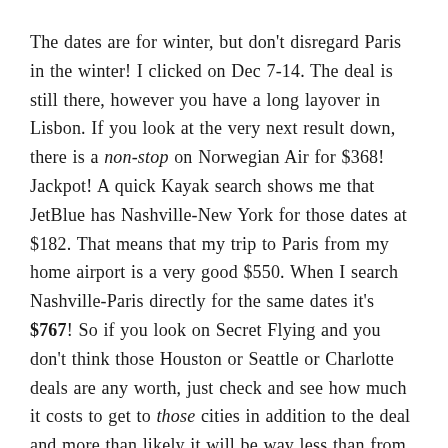The dates are for winter, but don't disregard Paris in the winter! I clicked on Dec 7-14. The deal is still there, however you have a long layover in Lisbon. If you look at the very next result down, there is a non-stop on Norwegian Air for $368! Jackpot! A quick Kayak search shows me that JetBlue has Nashville-New York for those dates at $182. That means that my trip to Paris from my home airport is a very good $550. When I search Nashville-Paris directly for the same dates it's $767! So if you look on Secret Flying and you don't think those Houston or Seattle or Charlotte deals are any worth, just check and see how much it costs to get to those cities in addition to the deal and more than likely it will be way less than from your city to your desired destination directly.
But here's the most important thing when booking separate legs of flights – ALWAYS make sure your flight times align. If you arrive to NYC at 1pm, schedule that second leg to London at